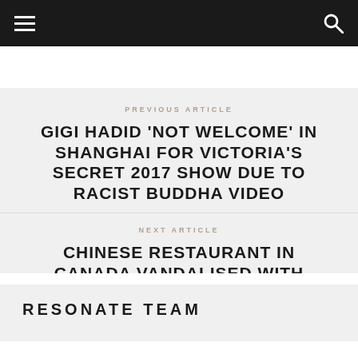☰  🔍
PREVIOUS ARTICLE
GIGI HADID 'NOT WELCOME' IN SHANGHAI FOR VICTORIA'S SECRET 2017 SHOW DUE TO RACIST BUDDHA VIDEO
NEXT ARTICLE
CHINESE RESTAURANT IN CANADA VANDALISED WITH RACIST GRAFFITI
RESONATE TEAM